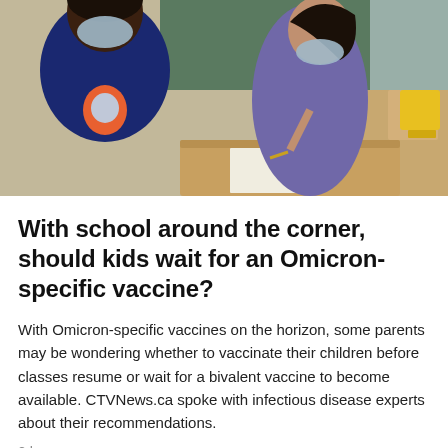[Figure (photo): Two children wearing face masks sitting at desks in a classroom. One child in a dark blue top with an astronaut print is seen from behind; another child is writing at a desk with school supplies and a chalkboard visible in the background.]
With school around the corner, should kids wait for an Omicron-specific vaccine?
With Omicron-specific vaccines on the horizon, some parents may be wondering whether to vaccinate their children before classes resume or wait for a bivalent vaccine to become available. CTVNews.ca spoke with infectious disease experts about their recommendations.
2 hr ago
Putin orders troop replenishment in face of Ukraine losses